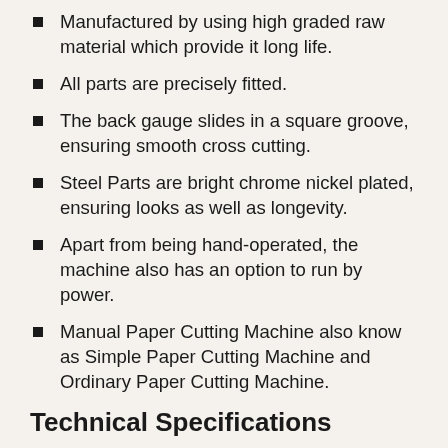Manufactured by using high graded raw material which provide it long life.
All parts are precisely fitted.
The back gauge slides in a square groove, ensuring smooth cross cutting.
Steel Parts are bright chrome nickel plated, ensuring looks as well as longevity.
Apart from being hand-operated, the machine also has an option to run by power.
Manual Paper Cutting Machine also know as Simple Paper Cutting Machine and Ordinary Paper Cutting Machine.
Technical Specifications